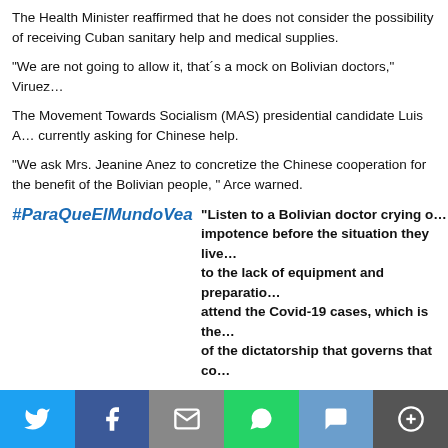The Health Minister reaffirmed that he does not consider the possibility of receiving Cuban sanitary help and medical supplies.
"We are not going to allow it, that´s a mock on Bolivian doctors," Viruez...
The Movement Towards Socialism (MAS) presidential candidate Luis A... currently asking for Chinese help.
"We ask Mrs. Jeanine Anez to concretize the Chinese cooperation for the benefit of the Bolivian people, " Arce warned.
#ParaQueElMundoVea
"Listen to a Bolivian doctor crying out... impotence before the situation they live... to the lack of equipment and preparation... attend the Covid-19 cases, which is the... of the dictatorship that governs that co...
Escuchen a médico Boliviano, quien llora de impotencia por la situación que viven ellos, por falta de
Despite Viruez declarations, Bolivian doctors condemn the lack of material resources, medical supplies, and preparation to face...